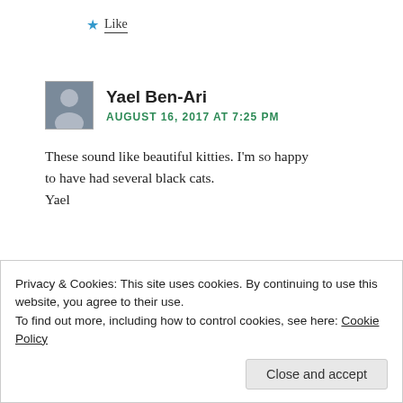Like
Yael Ben-Ari
AUGUST 16, 2017 AT 7:25 PM
These sound like beautiful kitties. I'm so happy to have had several black cats.
Yael
Like
Privacy & Cookies: This site uses cookies. By continuing to use this website, you agree to their use.
To find out more, including how to control cookies, see here: Cookie Policy
Close and accept